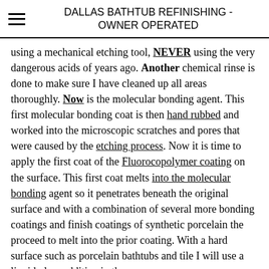DALLAS BATHTUB REFINISHING - OWNER OPERATED
using a mechanical etching tool, NEVER using the very dangerous acids of years ago. Another chemical rinse is done to make sure I have cleaned up all areas thoroughly. Now is the molecular bonding agent. This first molecular bonding coat is then hand rubbed and worked into the microscopic scratches and pores that were caused by the etching process. Now it is time to apply the first coat of the Fluorocopolymer coating on the surface. This first coat melts into the molecular bonding agent so it penetrates beneath the original surface and with a combination of several more bonding coatings and finish coatings of synthetic porcelain the proceed to melt into the prior coating. With a hard surface such as porcelain bathtubs and tile I will use a liquid glass additive in the...